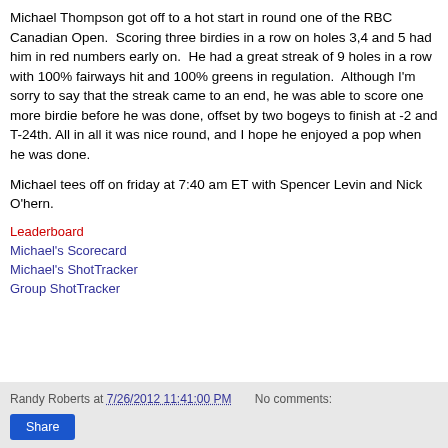Michael Thompson got off to a hot start in round one of the RBC Canadian Open.  Scoring three birdies in a row on holes 3,4 and 5 had him in red numbers early on.  He had a great streak of 9 holes in a row with 100% fairways hit and 100% greens in regulation.  Although I'm sorry to say that the streak came to an end, he was able to score one more birdie before he was done, offset by two bogeys to finish at -2 and T-24th. All in all it was nice round, and I hope he enjoyed a pop when he was done.
Michael tees off on friday at 7:40 am ET with Spencer Levin and Nick O'hern.
Leaderboard
Michael's Scorecard
Michael's ShotTracker
Group ShotTracker
Randy Roberts at 7/26/2012 11:41:00 PM   No comments:   Share